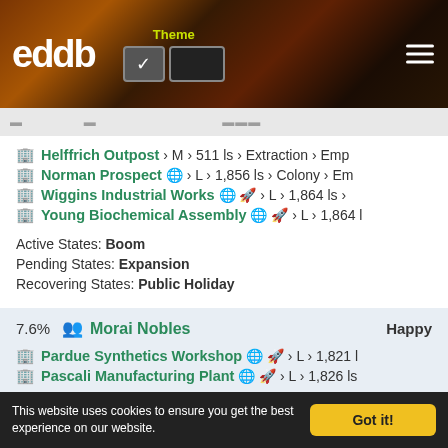eddb — Theme toggle — hamburger menu
🏢 Helffrich Outpost > M > 511 ls > Extraction > Emp
🏢 Norman Prospect 🌐 > L > 1,856 ls > Colony > Em
🏢 Wiggins Industrial Works 🌐 🚀 > L > 1,864 ls >
🏢 Young Biochemical Assembly 🌐 🚀 > L > 1,864 l
Active States: Boom
Pending States: Expansion
Recovering States: Public Holiday
7.6%  👥 Morai Nobles    Happy
🏢 Pardue Synthetics Workshop 🌐 🚀 > L > 1,821 l
🏢 Pascali Manufacturing Plant 🌐 🚀 > L > 1,826 ls
Active States: Expansion, War
This website uses cookies to ensure you get the best experience on our website. Got it!